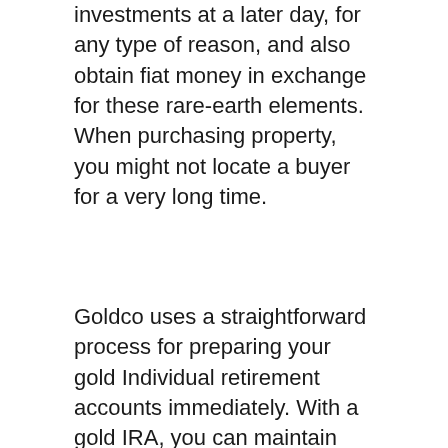investments at a later day, for any type of reason, and also obtain fiat money in exchange for these rare-earth elements. When purchasing property, you might not locate a buyer for a very long time.
Goldco uses a straightforward process for preparing your gold Individual retirement accounts immediately. With a gold IRA, you can maintain gold and also various other precious metals in a self routed individual retirement account, as opposed to bonds or supplies.
To register an account, check out the Goldco website, fill out the application with the needed info, after that choose exactly how to deposit into your IRA. Hereafter, you can